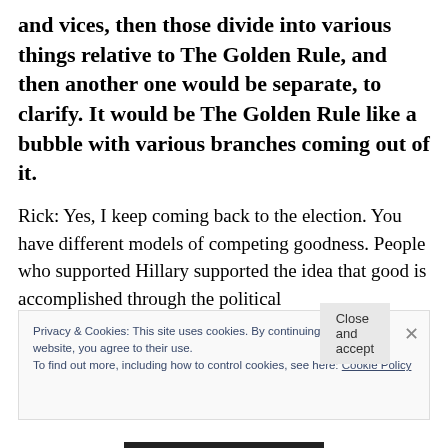and vices, then those divide into various things relative to The Golden Rule, and then another one would be separate, to clarify. It would be The Golden Rule like a bubble with various branches coming out of it.
Rick: Yes, I keep coming back to the election. You have different models of competing goodness. People who supported Hillary supported the idea that good is accomplished through the political
Privacy & Cookies: This site uses cookies. By continuing to use this website, you agree to their use.
To find out more, including how to control cookies, see here: Cookie Policy
Close and accept